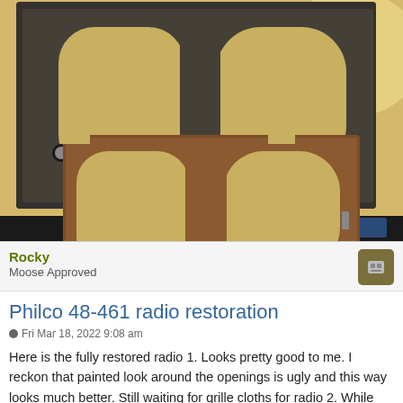[Figure (photo): Photo of two radio grille plates side by side on a wooden surface. The top plate is dark/tarnished metal with two rounded rectangular cutouts. The bottom plate is a brown fiber/bakelite replacement part with matching cutouts, screw holes visible at bottom corners.]
Rocky
Moose Approved
Philco 48-461 radio restoration
Fri Mar 18, 2022 9:08 am
Here is the fully restored radio 1. Looks pretty good to me. I reckon that painted look around the openings is ugly and this way looks much better. Still waiting for grille cloths for radio 2. While waiting I'll look into saving a